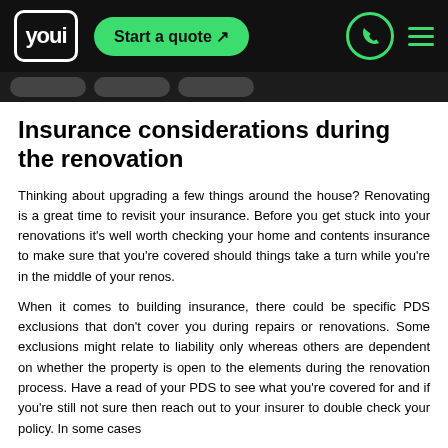youi | Start a quote ↗
Insurance considerations during the renovation
Thinking about upgrading a few things around the house? Renovating is a great time to revisit your insurance. Before you get stuck into your renovations it's well worth checking your home and contents insurance to make sure that you're covered should things take a turn while you're in the middle of your renos.
When it comes to building insurance, there could be specific PDS exclusions that don't cover you during repairs or renovations. Some exclusions might relate to liability only whereas others are dependent on whether the property is open to the elements during the renovation process. Have a read of your PDS to see what you're covered for and if you're still not sure then reach out to your insurer to double check your policy. In some cases